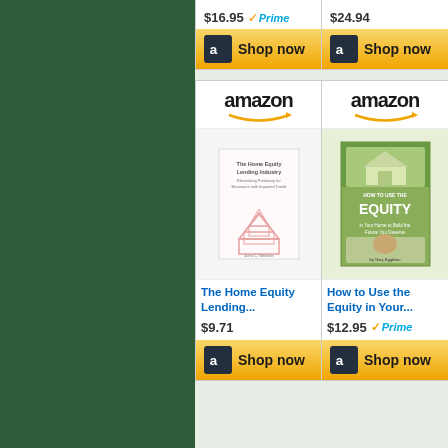[Figure (screenshot): Amazon product listing widget showing two rows of book products. Top row (partially visible): first product priced $16.95 with Prime badge, second product priced $24.94, both with 'Shop now' buttons. Bottom row: 'The Home Equity Lending...' at $9.71 and 'How to Use the Equity in Your...' at $12.95 with Prime badge, both with Amazon logos and 'Shop now' buttons. Left portion of image is a dark green sidebar.]